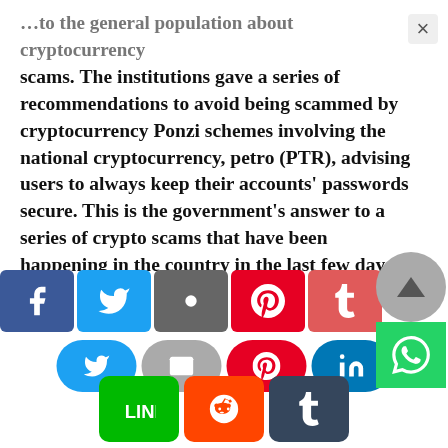…to the general population about cryptocurrency scams. The institutions gave a series of recommendations to avoid being scammed by cryptocurrency Ponzi schemes involving the national cryptocurrency, petro (PTR), advising users to always keep their accounts' passwords secure. This is the government's answer to a series of crypto scams that have been happening in the country in the last few days.
[Figure (other): Social media sharing buttons: Facebook, Twitter, Google+/share, Pinterest, Tumblr (top row partially visible), and a second row with Twitter (blue pill), Email (grey pill), Pinterest (red pill), LinkedIn (blue pill), WhatsApp (green square), LINE (green square), Reddit (orange square), Tumblr (dark blue square). Also a scroll-to-top button (grey circle with triangle) and WhatsApp floating button (green square).]